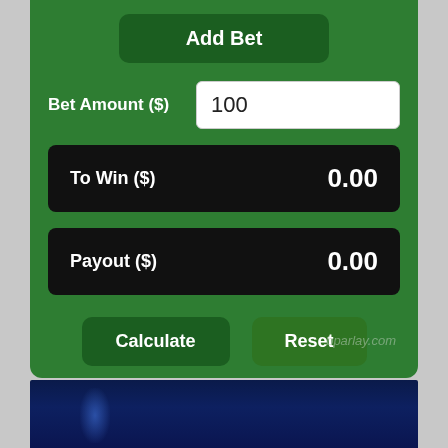[Figure (screenshot): Mobile sports betting parlay calculator UI on green background. Contains: 'Add Bet' button at top, 'Bet Amount ($)' label with input field showing '100', 'To Win ($)' result row showing '0.00', 'Payout ($)' result row showing '0.00', 'Calculate' and 'Reset' buttons at bottom. Watermark 'bparlay.com' in lower right. Below the green panel is a dark blue image strip at the bottom.]